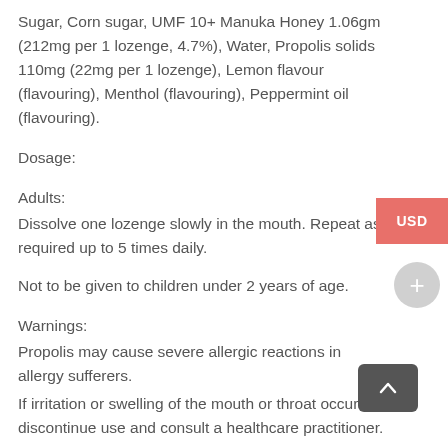Sugar, Corn sugar, UMF 10+ Manuka Honey 1.06gm (212mg per 1 lozenge, 4.7%), Water, Propolis solids 110mg (22mg per 1 lozenge), Lemon flavour (flavouring), Menthol (flavouring), Peppermint oil (flavouring).
Dosage:
Adults:
Dissolve one lozenge slowly in the mouth. Repeat as required up to 5 times daily.
Not to be given to children under 2 years of age.
Warnings:
Propolis may cause severe allergic reactions in allergy sufferers.
If irritation or swelling of the mouth or throat occurs, discontinue use and consult a healthcare practitioner.